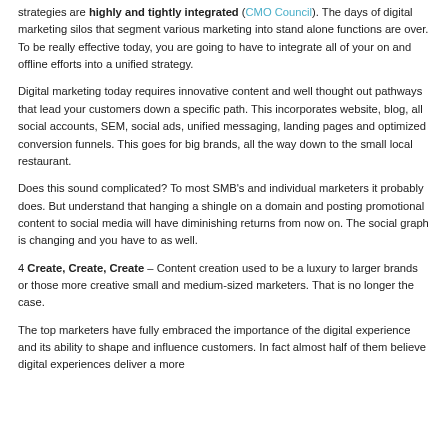strategies are highly and tightly integrated (CMO Council). The days of digital marketing silos that segment various marketing into stand alone functions are over. To be really effective today, you are going to have to integrate all of your on and offline efforts into a unified strategy.
Digital marketing today requires innovative content and well thought out pathways that lead your customers down a specific path. This incorporates website, blog, all social accounts, SEM, social ads, unified messaging, landing pages and optimized conversion funnels. This goes for big brands, all the way down to the small local restaurant.
Does this sound complicated? To most SMB's and individual marketers it probably does. But understand that hanging a shingle on a domain and posting promotional content to social media will have diminishing returns from now on. The social graph is changing and you have to as well.
4 Create, Create, Create – Content creation used to be a luxury to larger brands or those more creative small and medium-sized marketers. That is no longer the case.
The top marketers have fully embraced the importance of the digital experience and its ability to shape and influence customers. In fact almost half of them believe digital experiences deliver a more